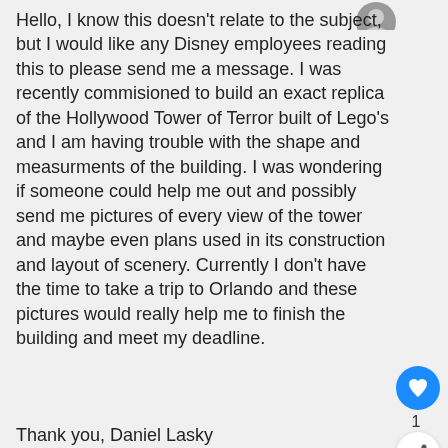[Figure (other): User avatar circle icon (partial, top-right)]
Hello, I know this doesn't relate to the subject, but I would like any Disney employees reading this to please send me a message. I was recently commisioned to build an exact replica of the Hollywood Tower of Terror built of Lego's and I am having trouble with the shape and measurments of the building. I was wondering if someone could help me out and possibly send me pictures of every view of the tower and maybe even plans used in its construction and layout of scenery. Currently I don't have the time to take a trip to Orlando and these pictures would really help me to finish the building and meet my deadline.
[Figure (other): Heart/like button (blue circle with heart icon) with count of 1]
[Figure (other): Share button (white circle with share icon)]
Thank you, Daniel Lasky